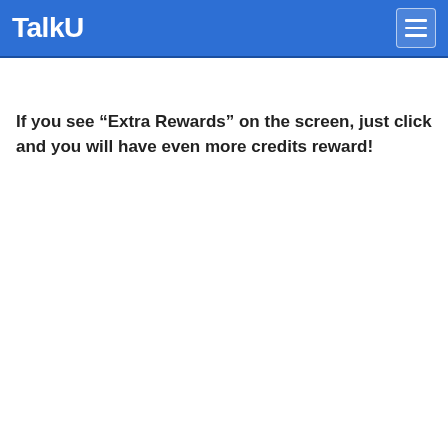TalkU
If you see “Extra Rewards” on the screen, just click and you will have even more credits reward!